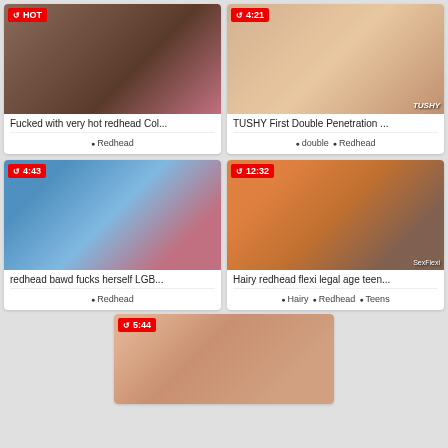[Figure (photo): Video thumbnail 1 - adult content]
Fucked with very hot redhead Col...
Redhead
[Figure (photo): Video thumbnail 2 - adult content with TUSHY watermark]
TUSHY First Double Penetration ...
double • Redhead
[Figure (photo): Video thumbnail 3 - adult content, duration 4:43]
redhead bawd fucks herself LGB...
Redhead
[Figure (photo): Video thumbnail 4 - adult content, duration 12:32]
Hairy redhead flexi legal age teen...
Hairy • Redhead • Teens
[Figure (photo): Video thumbnail 5 - adult content, duration 5:44]